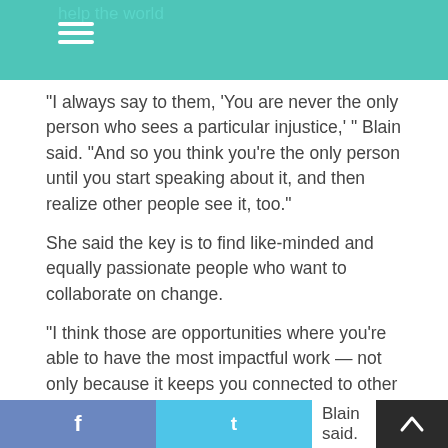help the world
“I always say to them, ‘You are never the only person who sees a particular injustice,’ ” Blain said. “And so you think you’re the only person until you start speaking about it, and then realize other people see it, too.”
She said the key is to find like-minded and equally passionate people who want to collaborate on change.
“I think those are opportunities where you’re able to have the most impactful work — not only because it keeps you connected to other people, which is always important, but then you have others who, at the moment where you begin to doubt, at the moment where you grow discouraged, someone else is ab… Blain said.
f   t   Blain said.